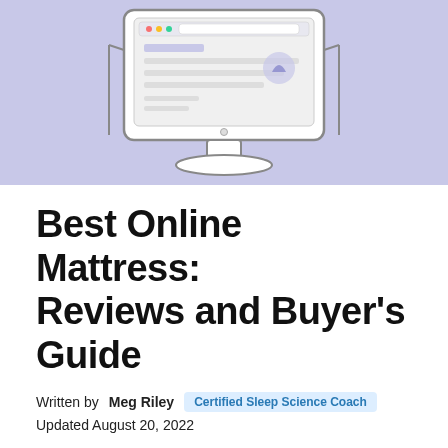[Figure (illustration): Hero banner with lavender/purple background showing a desktop computer monitor illustration with decorative elements]
Best Online Mattress: Reviews and Buyer's Guide
Written by Meg Riley  Certified Sleep Science Coach
Updated August 20, 2022
Online mattress brands have changed the way people learn about and shop for beds. Before, mattress shopping consisted of driving store to store, testing